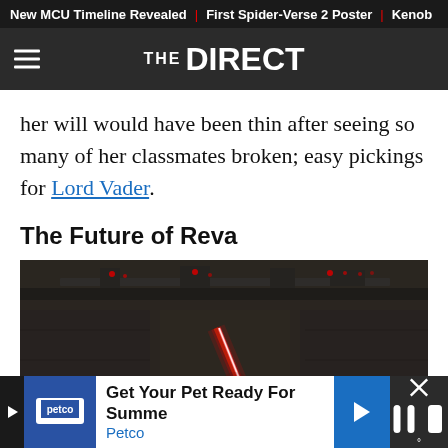New MCU Timeline Revealed | First Spider-Verse 2 Poster | Kenob
THE DIRECT
her will would have been thin after seeing so many of her classmates broken; easy pickings for Lord Vader.
The Future of Reva
[Figure (photo): Dark scene showing a figure in dark robes holding a red lightsaber in what appears to be a dimly lit industrial or space station interior. The red blade glows prominently against the dark background.]
Get Your Pet Ready For Summe Petco